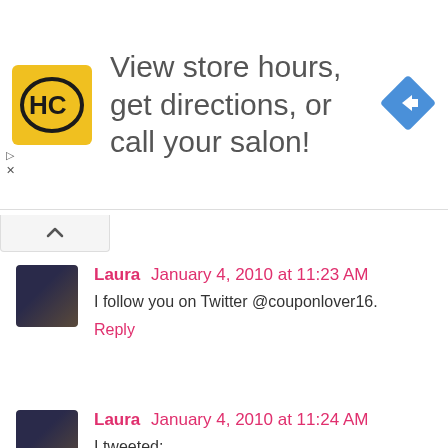[Figure (other): Advertisement banner: HC logo (yellow square with HC monogram), text 'View store hours, get directions, or call your salon!', blue diamond arrow icon on right]
I follow you on Twitter @couponlover16.
Laura January 4, 2010 at 11:23 AM
Reply
Laura January 4, 2010 at 11:24 AM
I tweeted:
http://twitter.com/couponlover16/status/7376232149
Reply
Unknown January 4, 2010 at 1:33 PM
I like that it smells like Christmas Cookies...my house can